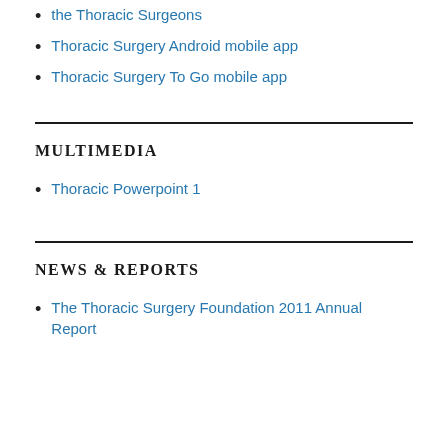the Thoracic Surgeons
Thoracic Surgery Android mobile app
Thoracic Surgery To Go mobile app
MULTIMEDIA
Thoracic Powerpoint 1
NEWS & REPORTS
The Thoracic Surgery Foundation 2011 Annual Report